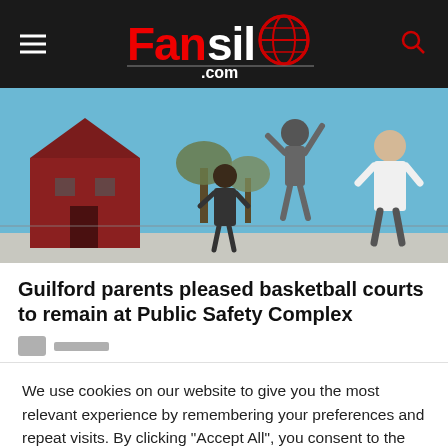Fansilo.com
[Figure (photo): People playing basketball outdoors near a red brick building on a clear day]
Guilford parents pleased basketball courts to remain at Public Safety Complex
We use cookies on our website to give you the most relevant experience by remembering your preferences and repeat visits. By clicking "Accept All", you consent to the use of ALL the cookies. However, you may visit "Cookie Settings" to provide a controlled consent.